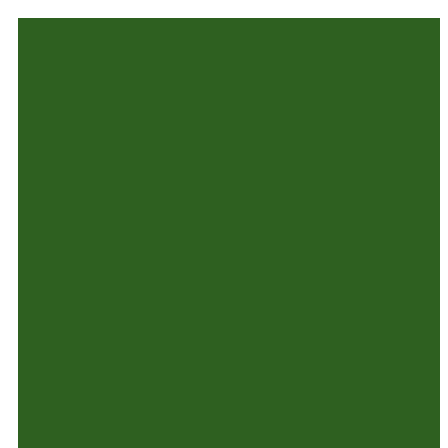[Figure (illustration): Large dark green rectangular block occupying the left portion of the page]
together in this imperfect bu

Dear friends, it's Advent the Eucharist can wake us u comfort zone. The Eucharis personal lives, for sure, but violence, racism, injustice, certain, but it is also cosmic will be healed," we will als something to do with the he